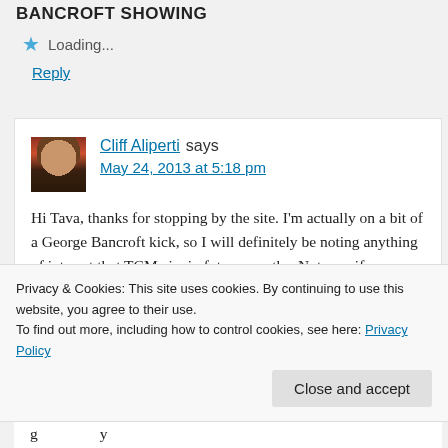BANCROFT SHOWING
Loading...
Reply
Cliff Aliperti says
May 24, 2013 at 5:18 pm
Hi Tava, thanks for stopping by the site. I'm actually on a bit of a George Bancroft kick, so I will definitely be noting anything of interest that TCM airs in future months. Not sure if you subscribed or not, but I do this
Privacy & Cookies: This site uses cookies. By continuing to use this website, you agree to their use.
To find out more, including how to control cookies, see here: Privacy Policy
Close and accept